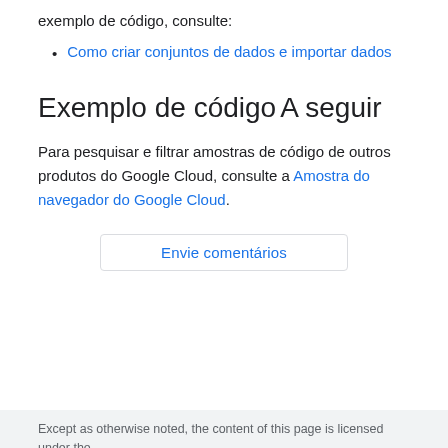exemplo de código, consulte:
Como criar conjuntos de dados e importar dados
Exemplo de código
A seguir
Para pesquisar e filtrar amostras de código de outros produtos do Google Cloud, consulte a Amostra do navegador do Google Cloud.
Envie comentários
Except as otherwise noted, the content of this page is licensed under the